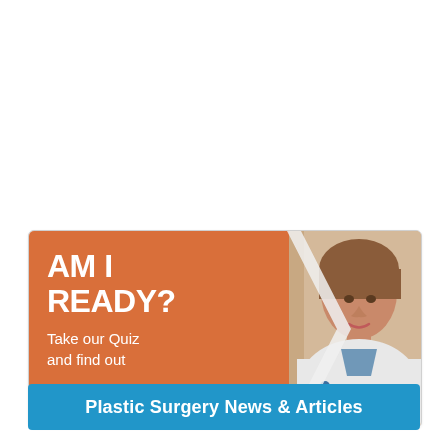[Figure (infographic): Promotional banner with orange background and chevron shape. White bold text reads 'AM I READY?' with subtitle 'Take our Quiz and find out'. Right side shows a photo of a female doctor/nurse in a white coat with stethoscope and blue scrubs, smiling at camera.]
Plastic Surgery News & Articles